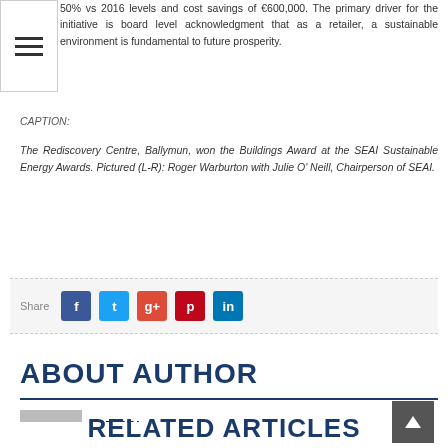50% vs 2016 levels and cost savings of €600,000. The primary driver for the initiative is board level acknowledgment that as a retailer, a sustainable environment is fundamental to future prosperity.
CAPTION:
The Rediscovery Centre, Ballymun, won the Buildings Award at the SEAI Sustainable Energy Awards. Pictured (L-R): Roger Warburton with Julie O' Neill, Chairperson of SEAI.
Share
ABOUT AUTHOR
[Figure (photo): Author avatar placeholder image showing a silhouette of a person]
ADMIN
RELATED ARTICLES